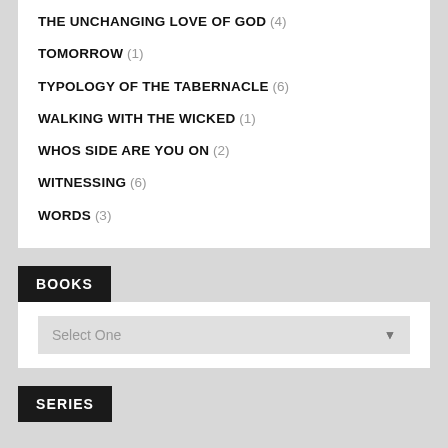THE UNCHANGING LOVE OF GOD (4)
TOMORROW (1)
TYPOLOGY OF THE TABERNACLE (6)
WALKING WITH THE WICKED (1)
WHOS SIDE ARE YOU ON (2)
WITNESSING (6)
WORDS (3)
BOOKS
Select One
SERIES